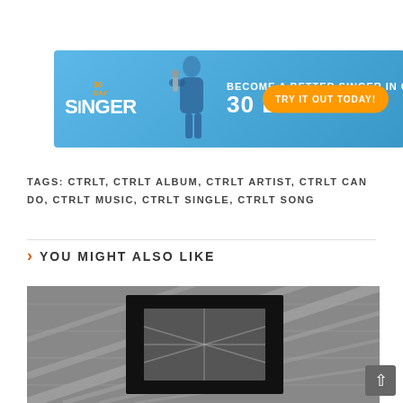[Figure (infographic): 30 Day Singer advertisement banner. Blue gradient background with white text: BECOME A BETTER SINGER IN ONLY 30 DAYS! with an orange TRY IT OUT TODAY! button. Logo on left shows 30 DAY SINGER with microphone icon.]
TAGS: CTRLT, CTRLT ALBUM, CTRLT ARTIST, CTRLT CAN DO, CTRLT MUSIC, CTRLT SINGLE, CTRLT SONG
YOU MIGHT ALSO LIKE
[Figure (photo): Black and white photograph showing railroad tracks or aerial infrastructure with a black rectangular frame overlay in the center.]